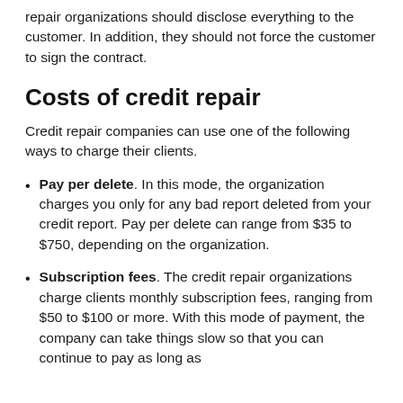repair organizations should disclose everything to the customer. In addition, they should not force the customer to sign the contract.
Costs of credit repair
Credit repair companies can use one of the following ways to charge their clients.
Pay per delete. In this mode, the organization charges you only for any bad report deleted from your credit report. Pay per delete can range from $35 to $750, depending on the organization.
Subscription fees. The credit repair organizations charge clients monthly subscription fees, ranging from $50 to $100 or more. With this mode of payment, the company can take things slow so that you can continue to pay as long as